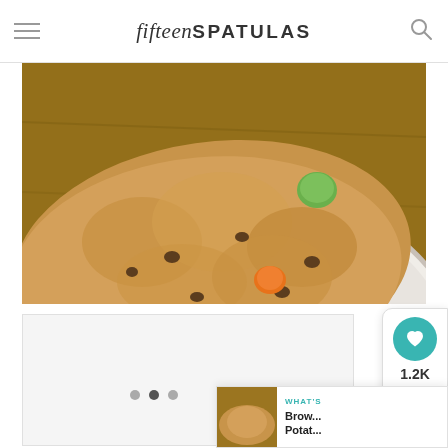fifteenSPATULAS
[Figure (photo): Close-up photo of a large peanut butter cookie with M&M candies (orange and green visible) on a white plate on a wooden surface]
[Figure (photo): Second image block placeholder (carousel), mostly white/light grey]
1.2K
WHAT'S Brow... Potat...